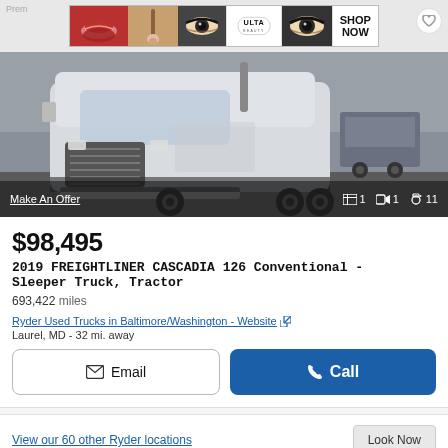[Figure (screenshot): ULTA Beauty makeup advertisement banner showing lipstick, brush, eye makeup, ULTA logo, and SHOP NOW text]
[Figure (photo): White 2019 Freightliner Cascadia 126 semi truck / tractor trailer, front three-quarter view in a parking area]
Make An Offer
⊞ 1   🎬 1   📷 11
$98,495
2019 FREIGHTLINER CASCADIA 126 Conventional - Sleeper Truck, Tractor
693,422 miles
Ryder Used Trucks in Baltimore/Washington - Website
Laurel, MD - 32 mi. away
Email
Call
View our 60 other Ryder locations
Look Now